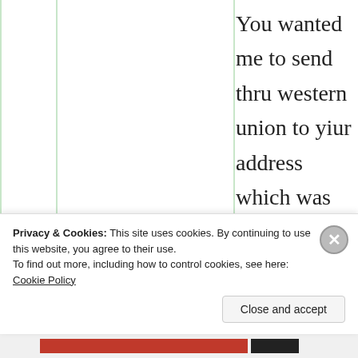You wanted me to send thru western union to yiur address which was not possible coz in India only receiving services I inquired all most all the cities. You suggested to send thry courier it was impossible n illegal. All these impossible ways you wanted me to use
Privacy & Cookies: This site uses cookies. By continuing to use this website, you agree to their use.
To find out more, including how to control cookies, see here: Cookie Policy
Close and accept